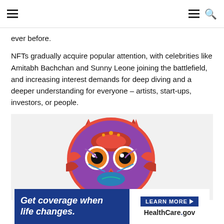Navigation bar with hamburger menu and search icon
ever before.
NFTs gradually acquire popular attention, with celebrities like Amitabh Bachchan and Sunny Leone joining the battlefield, and increasing interest demands for deep diving and a deeper understanding for everyone – artists, start-ups, investors, or people.
[Figure (illustration): Colorful decorative owl illustration with intricate mandala-style patterns in red, orange, purple, and blue on a light gray background]
[Figure (other): Advertisement banner: 'Get coverage when life changes. LEARN MORE HealthCare.gov' on dark blue background]